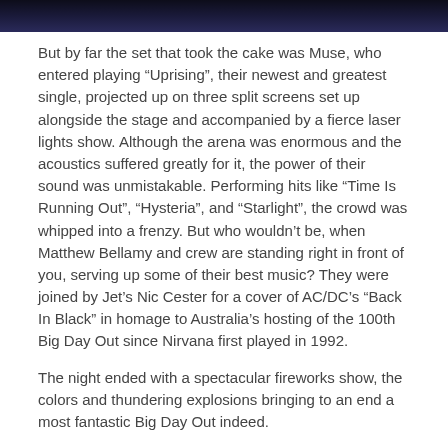[Figure (photo): Dark background image at top of page showing a partially visible figure against a dark blue/black background]
But by far the set that took the cake was Muse, who entered playing “Uprising”, their newest and greatest single, projected up on three split screens set up alongside the stage and accompanied by a fierce laser lights show. Although the arena was enormous and the acoustics suffered greatly for it, the power of their sound was unmistakable. Performing hits like “Time Is Running Out”, “Hysteria”, and “Starlight”, the crowd was whipped into a frenzy. But who wouldn’t be, when Matthew Bellamy and crew are standing right in front of you, serving up some of their best music? They were joined by Jet’s Nic Cester for a cover of AC/DC’s “Back In Black” in homage to Australia’s hosting of the 100th Big Day Out since Nirvana first played in 1992.
The night ended with a spectacular fireworks show, the colors and thundering explosions bringing to an end a most fantastic Big Day Out indeed.
Australia
[Figure (other): Tweet button with Twitter bird logo]